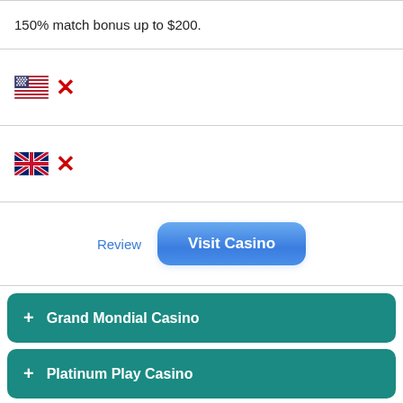150% match bonus up to $200.
[Figure (illustration): US flag icon with red X mark indicating not accepted]
[Figure (illustration): UK flag icon with red X mark indicating not accepted]
Review  Visit Casino
+ Grand Mondial Casino
+ Platinum Play Casino
+ Spin Casino
+ Casino Classic